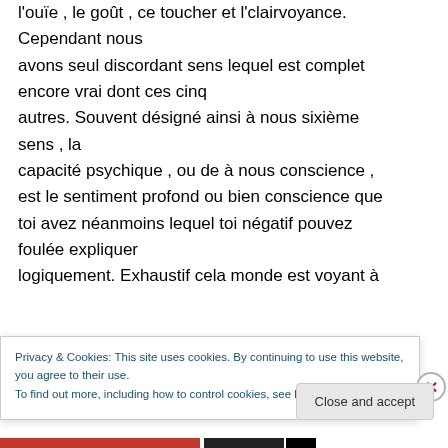l'ouïe , le goût , ce toucher et l'clairvoyance. Cependant nous avons seul discordant sens lequel est complet encore vrai dont ces cinq autres. Souvent désigné ainsi à nous sixième sens , la capacité psychique , ou de à nous conscience , est le sentiment profond ou bien conscience que toi avez néanmoins lequel toi négatif pouvez foulée expliquer logiquement. Exhaustif cela monde est voyant à
Privacy & Cookies: This site uses cookies. By continuing to use this website, you agree to their use.
To find out more, including how to control cookies, see here: Cookie Policy